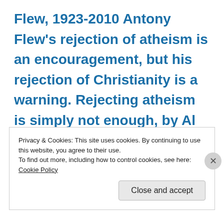Flew, 1923-2010 Antony Flew's rejection of atheism is an encouragement, but his rejection of Christianity is a warning. Rejecting atheism is simply not enough, by Al Mohler
January 10, 2014 – 3:47 pm
Discussion (1 of
Privacy & Cookies: This site uses cookies. By continuing to use this website, you agree to their use.
To find out more, including how to control cookies, see here: Cookie Policy
Close and accept